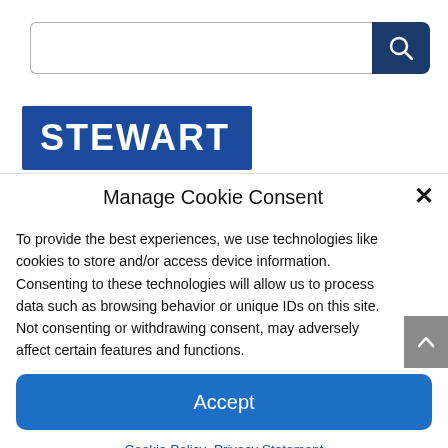[Figure (screenshot): Search bar with white input field and dark navy blue search button with magnifying glass icon]
[Figure (logo): Stewart logo — white bold text 'STEWART' on dark blue rectangle background]
Manage Cookie Consent
To provide the best experiences, we use technologies like cookies to store and/or access device information. Consenting to these technologies will allow us to process data such as browsing behavior or unique IDs on this site. Not consenting or withdrawing consent, may adversely affect certain features and functions.
Accept
Cookie Policy  Privacy Statement